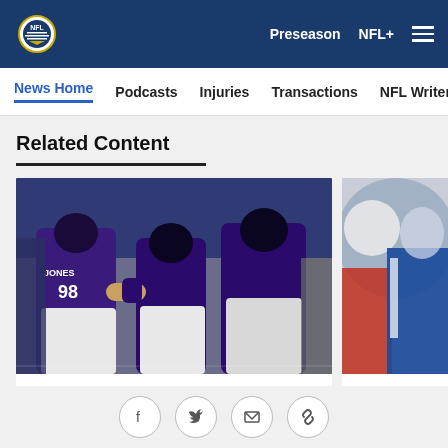NFL — Preseason | NFL+ | Menu
News Home | Podcasts | Injuries | Transactions | NFL Writers | Se
Related Content
[Figure (photo): Baltimore Ravens players in purple uniforms celebrating on the field. Player Jones #98 visible prominently.]
NEWS
Ravens finish preseason with
[Figure (photo): Partially visible image of Bills players in blue and white uniforms.]
NEWS
Bills rele
Social sharing icons: Facebook, Twitter, Email, Link